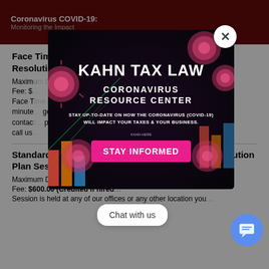Coronavirus COVID-19:
Monitoring the Impact
Face Time or Standard Telephone Tax Development Resolution Plan Session
Maximum Duration:
Fee: $
Face T… up to a 10-minute… get in contact… please call us…
[Figure (infographic): Kahn Tax Law Coronavirus Resource Center popup modal over dark background with virus imagery. Text: KAHN TAX LAW, CORONAVIRUS RESOURCE CENTER, STAY UP-TO-DATE ON HOW THE CORONAVIRUS (COVID-19) WILL IMPACT YOUR TAXES & YOUR BUSINESS., STAY INFORMED button.]
Standard Fee Face-To-Face Tax Development Resolution Plan Session
Maximum Duration: 60 minutes a Session
Fee: $600.00 (Credited if hired…
Session is held at any of our offices or any other location you…